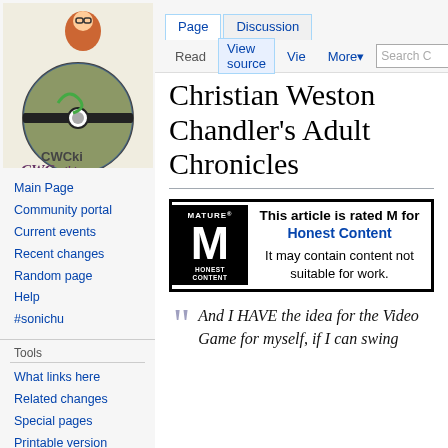Log in
[Figure (logo): CWCki logo - person holding Pokeball with CWCki text]
Main Page
Community portal
Current events
Recent changes
Random page
Help
#sonichu
Tools
What links here
Related changes
Special pages
Printable version
Permanent link
Christian Weston Chandler's Adult Chronicles
[Figure (infographic): Mature rating badge box - ESRB-style M for Mature badge with text: This article is rated M for Honest Content. It may contain content not suitable for work.]
And I HAVE the idea for the Video Game for myself, if I can swing